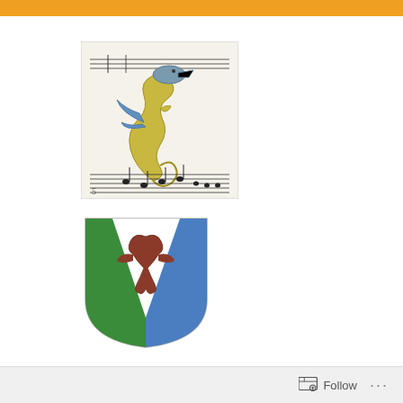[Figure (illustration): Medieval illuminated manuscript illustration of a serpentine dragon or sea creature in gold and blue, overlaid on musical staff notation]
[Figure (illustration): Heraldic shield/coat of arms with green on the left, blue on the right, white center, and a brownish-red bird/dragon figure in the center]
Some weeks go around the twist very quickly. A